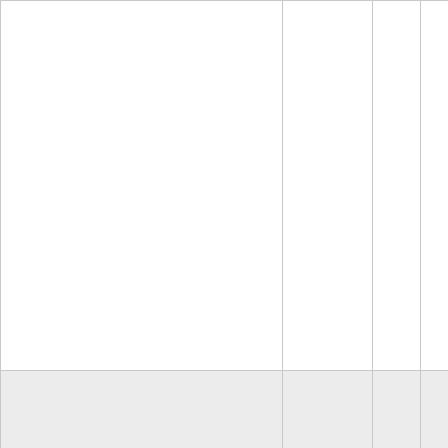|  | Date | Col1 | Col2 |  |
| --- | --- | --- | --- | --- |
|  |  |  |  |  |
|  | Feb 2021 | 418 | 0 |  |
|  | Jan 2021 | 326 | 0 |  |